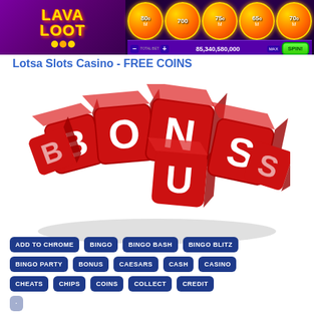[Figure (screenshot): Lotsa Slots Casino game banner showing 'Lava Loot' slot machine with coin symbols showing 800M, 700, 750M, 650M, 700M and a spin button with total bet 85,340,580,000]
Lotsa Slots Casino - FREE COINS
[Figure (illustration): 3D red dice spelling out BONUS with white letters, arranged in a scattered diagonal layout on white background with shadow]
ADD TO CHROME
BINGO
BINGO BASH
BINGO BLITZ
BINGO PARTY
BONUS
CAESARS
CASH
CASINO
CHEATS
CHIPS
COINS
COLLECT
CREDIT